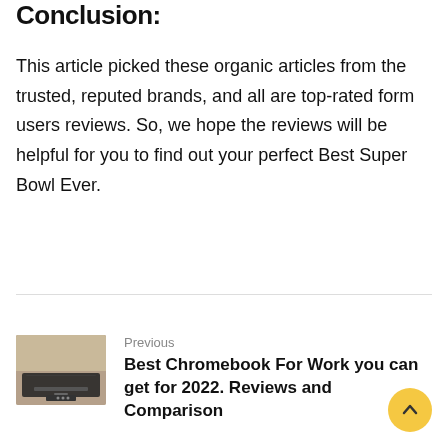Conclusion:
This article picked these organic articles from the trusted, reputed brands, and all are top-rated form users reviews. So, we hope the reviews will be helpful for you to find out your perfect Best Super Bowl Ever.
[Figure (photo): Thumbnail image of a Chromebook laptop on a wooden desk surface, shown in dark tones]
Previous
Best Chromebook For Work you can get for 2022. Reviews and Comparison